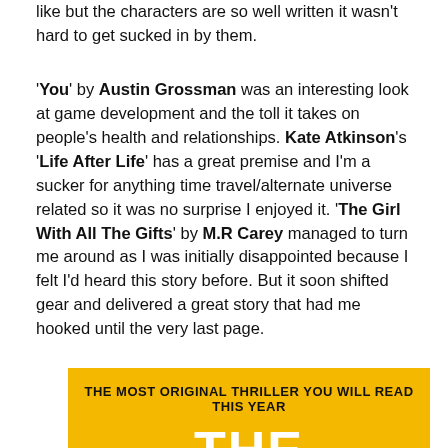like but the characters are so well written it wasn't hard to get sucked in by them.
'You' by Austin Grossman was an interesting look at game development and the toll it takes on people's health and relationships. Kate Atkinson's 'Life After Life' has a great premise and I'm a sucker for anything time travel/alternate universe related so it was no surprise I enjoyed it. 'The Girl With All The Gifts' by M.R Carey managed to turn me around as I was initially disappointed because I felt I'd heard this story before. But it soon shifted gear and delivered a great story that had me hooked until the very last page.
[Figure (other): Book cover banner with yellow/gold background, text 'THE MOST ORIGINAL THRILLER YOU WILL READ THIS YEAR' and large white letters 'THE' partially visible]